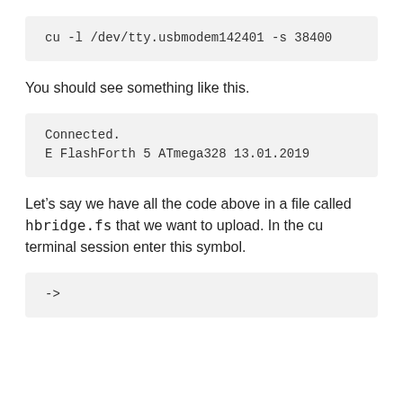cu -l /dev/tty.usbmodem142401 -s 38400
You should see something like this.
Connected.
E FlashForth 5 ATmega328 13.01.2019
Let’s say we have all the code above in a file called hbridge.fs that we want to upload. In the cu terminal session enter this symbol.
->